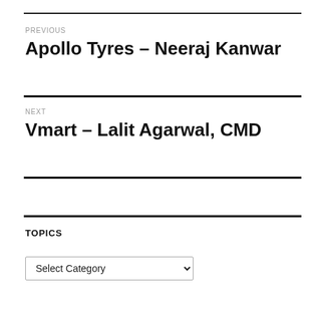PREVIOUS
Apollo Tyres – Neeraj Kanwar
NEXT
Vmart – Lalit Agarwal, CMD
TOPICS
Select Category